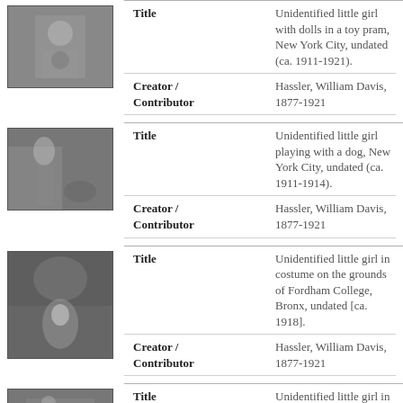[Figure (photo): Black and white photo of a little girl with a toy pram]
| Field | Value |
| --- | --- |
| Title | Unidentified little girl with dolls in a toy pram, New York City, undated (ca. 1911-1921). |
| Creator / Contributor | Hassler, William Davis, 1877-1921 |
[Figure (photo): Black and white photo of a little girl with a dog]
| Field | Value |
| --- | --- |
| Title | Unidentified little girl playing with a dog, New York City, undated (ca. 1911-1914). |
| Creator / Contributor | Hassler, William Davis, 1877-1921 |
[Figure (photo): Black and white photo of a little girl in costume on grounds of Fordham College]
| Field | Value |
| --- | --- |
| Title | Unidentified little girl in costume on the grounds of Fordham College, Bronx, undated [ca. 1918]. |
| Creator / Contributor | Hassler, William Davis, 1877-1921 |
[Figure (photo): Black and white photo of a little girl in coat]
| Field | Value |
| --- | --- |
| Title | Unidentified little girl in coat ('Agent 207 up'), New York City, November 27, 1918. |